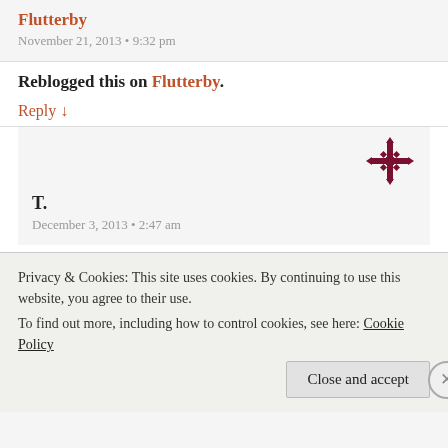Flutterby
November 21, 2013 • 9:32 pm
Reblogged this on Flutterby.
Reply ↓
[Figure (logo): Dark red snowflake/cross decorative icon used as avatar]
T.
December 3, 2013 • 2:47 am
Shelley, that is a beautiful poem. I could visualize
Privacy & Cookies: This site uses cookies. By continuing to use this website, you agree to their use.
To find out more, including how to control cookies, see here: Cookie Policy
Close and accept